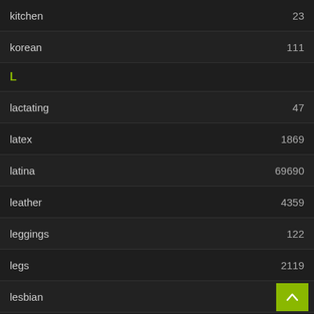kitchen  23
korean  111
L
lactating  47
latex  1869
latina  69690
leather  4359
leggings  122
legs  2119
lesbian  3833
lingerie  2657
lips  1114
live  80
M
machine